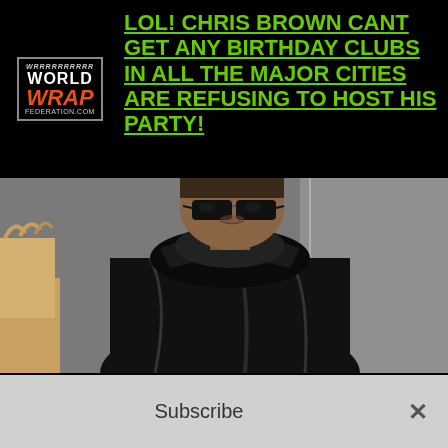World Wrap Federation
LOL! CHRIS BROWN CANT GET ANY BIRTHDAY CLUBS IN ALL THE MAJOR CITIES ARE REFUSING TO HOST HIS PARTY!
[Figure (photo): Man wearing black leather jacket and dark sunglasses, standing indoors. Another person partially visible at left edge.]
Subscribe